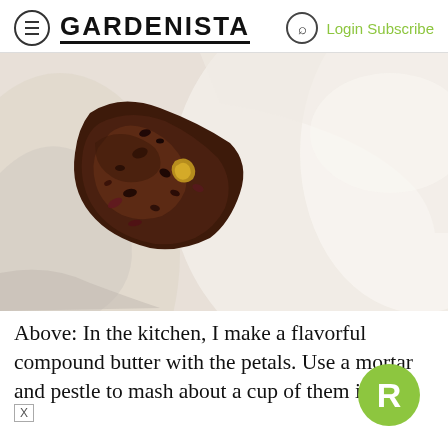GARDENISTA  Login Subscribe
[Figure (photo): Close-up macro photo of crushed flower petals (dark reddish-brown with yellow fragments) inside a white mortar bowl, with blurred white background]
Above: In the kitchen, I make a flavorful compound butter with the petals. Use a mortar and pestle to mash about a cup of them into a